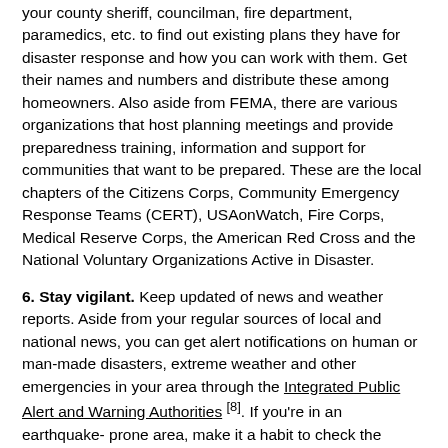your county sheriff, councilman, fire department, paramedics, etc. to find out existing plans they have for disaster response and how you can work with them. Get their names and numbers and distribute these among homeowners. Also aside from FEMA, there are various organizations that host planning meetings and provide preparedness training, information and support for communities that want to be prepared. These are the local chapters of the Citizens Corps, Community Emergency Response Teams (CERT), USAonWatch, Fire Corps, Medical Reserve Corps, the American Red Cross and the National Voluntary Organizations Active in Disaster.
6. Stay vigilant. Keep updated of news and weather reports. Aside from your regular sources of local and national news, you can get alert notifications on human or man-made disasters, extreme weather and other emergencies in your area through the Integrated Public Alert and Warning Authorities [8]. If you're in an earthquake-prone area, make it a habit to check the USGS regularly for signs of unrest within the earth.
This is by no means a complete list, but mere starting points which